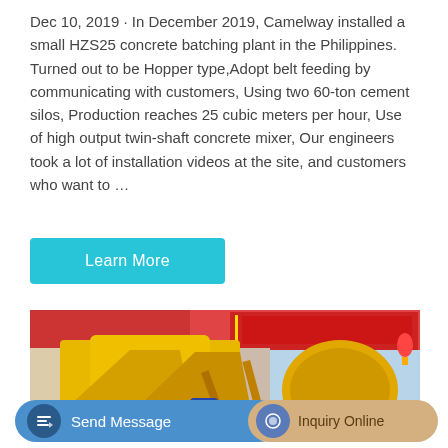Dec 10, 2019 · In December 2019, Camelway installed a small HZS25 concrete batching plant in the Philippines. Turned out to be Hopper type,Adopt belt feeding by communicating with customers, Using two 60-ton cement silos, Production reaches 25 cubic meters per hour, Use of high output twin-shaft concrete mixer, Our engineers took a lot of installation videos at the site, and customers who want to …
Learn More
[Figure (photo): Yellow HZS25 concrete batching plant mixers and equipment displayed outdoors in front of a building with red banners and Chinese text signage.]
Send Message
Inquiry Online